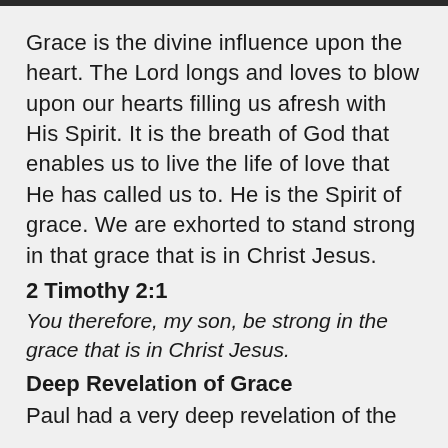Grace is the divine influence upon the heart. The Lord longs and loves to blow upon our hearts filling us afresh with His Spirit. It is the breath of God that enables us to live the life of love that He has called us to. He is the Spirit of grace. We are exhorted to stand strong in that grace that is in Christ Jesus.
2 Timothy 2:1
You therefore, my son, be strong in the grace that is in Christ Jesus.
Deep Revelation of Grace
Paul had a very deep revelation of the